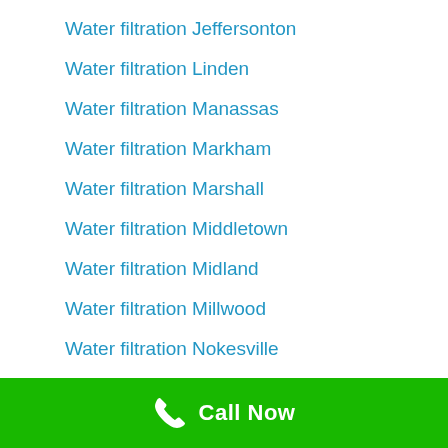Water filtration Jeffersonton
Water filtration Linden
Water filtration Manassas
Water filtration Markham
Water filtration Marshall
Water filtration Middletown
Water filtration Midland
Water filtration Millwood
Water filtration Nokesville
Call Now